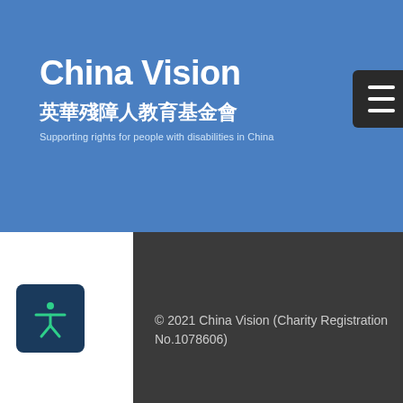See All
[Figure (screenshot): China Vision website screenshot showing navigation overlay with logo, Chinese text, subtitle, hamburger menu, a blog post card teaser, pagination dots, footer with copyright, and accessibility icon.]
Artist brushes off disability to inspire with oil on canvas July 26 was a special day for Zh...
0
© 2021 China Vision (Charity Registration No.1078606)